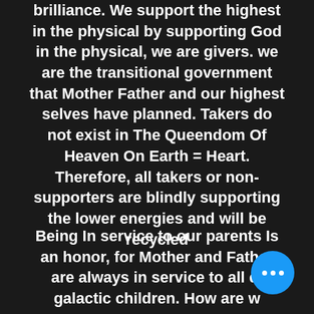brilliance. We support the highest in the physical by supporting God in the physical, we are givers. we are the transitional government that Mother Father and our highest selves have planned. Takers do not exist in The Queendom Of Heaven On Earth = Heart. Therefore, all takers or non-supporters are blindly supporting the lower energies and will be recycled
Being In service to our parents Is an honor, for Mother and Father are always in service to all di... galactic children. How are w...